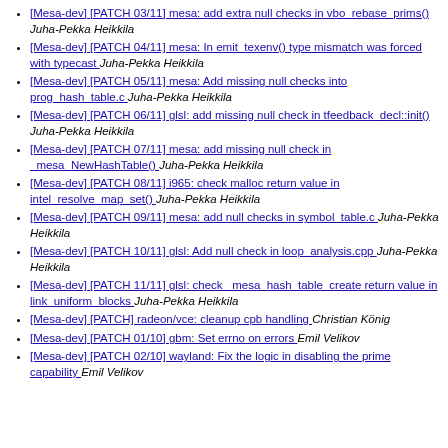[Mesa-dev] [PATCH 03/11] mesa: add extra null checks in vbo_rebase_prims()  Juha-Pekka Heikkila
[Mesa-dev] [PATCH 04/11] mesa: In emit_texenv() type mismatch was forced with typecast  Juha-Pekka Heikkila
[Mesa-dev] [PATCH 05/11] mesa: Add missing null checks into prog_hash_table.c  Juha-Pekka Heikkila
[Mesa-dev] [PATCH 06/11] glsl: add missing null check in tfeedback_decl::init()  Juha-Pekka Heikkila
[Mesa-dev] [PATCH 07/11] mesa: add missing null check in _mesa_NewHashTable()  Juha-Pekka Heikkila
[Mesa-dev] [PATCH 08/11] i965: check malloc return value in intel_resolve_map_set()  Juha-Pekka Heikkila
[Mesa-dev] [PATCH 09/11] mesa: add null checks in symbol_table.c  Juha-Pekka Heikkila
[Mesa-dev] [PATCH 10/11] glsl: Add null check in loop_analysis.cpp  Juha-Pekka Heikkila
[Mesa-dev] [PATCH 11/11] glsl: check _mesa_hash_table_create return value in link_uniform_blocks  Juha-Pekka Heikkila
[Mesa-dev] [PATCH] radeon/vce: cleanup cpb handling  Christian König
[Mesa-dev] [PATCH 01/10] gbm: Set errno on errors  Emil Velikov
[Mesa-dev] [PATCH 02/10] wayland: Fix the logic in disabling the prime capability  Emil Velikov